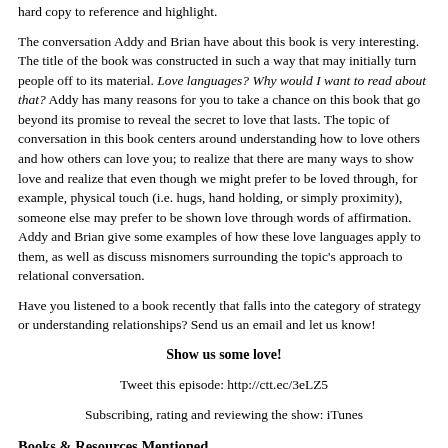hard copy to reference and highlight.
The conversation Addy and Brian have about this book is very interesting. The title of the book was constructed in such a way that may initially turn people off to its material. Love languages? Why would I want to read about that? Addy has many reasons for you to take a chance on this book that go beyond its promise to reveal the secret to love that lasts. The topic of conversation in this book centers around understanding how to love others and how others can love you; to realize that there are many ways to show love and realize that even though we might prefer to be loved through, for example, physical touch (i.e. hugs, hand holding, or simply proximity), someone else may prefer to be shown love through words of affirmation. Addy and Brian give some examples of how these love languages apply to them, as well as discuss misnomers surrounding the topic's approach to relational conversation.
Have you listened to a book recently that falls into the category of strategy or understanding relationships? Send us an email and let us know!
Show us some love!
Tweet this episode: http://ctt.ec/3eLZ5
Subscribing, rating and reviewing the show: iTunes
Books & Resources Mentioned